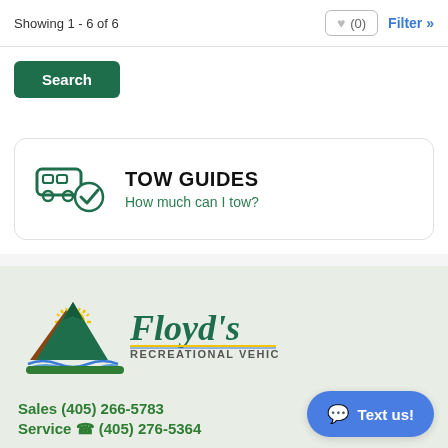Showing 1 - 6 of 6
♥ (0)
Filter »
Search
TOW GUIDES
How much can I tow?
[Figure (logo): Floyd's Recreational Vehicle logo with mountain, sun, tent, and water graphics]
Sales (405) 266-5783
Service 📞 (405) 276-5364
Text us!